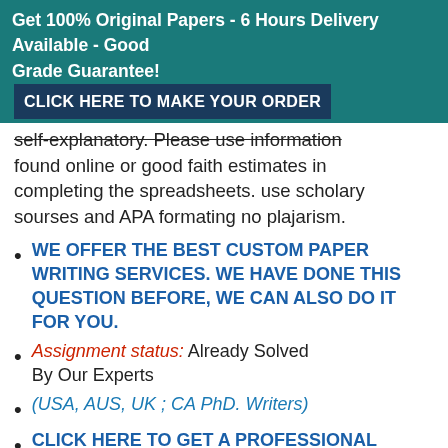Get 100% Original Papers - 6 Hours Delivery Available - Good Grade Guarantee! CLICK HERE TO MAKE YOUR ORDER
self-explanatory. Please use information found online or good faith estimates in completing the spreadsheets. use scholary sourses and APA formating no plajarism.
WE OFFER THE BEST CUSTOM PAPER WRITING SERVICES. WE HAVE DONE THIS QUESTION BEFORE, WE CAN ALSO DO IT FOR YOU.
Assignment status: Already Solved By Our Experts
(USA, AUS, UK ; CA PhD. Writers)
CLICK HERE TO GET A PROFESSIONAL WRITER TO WORK ON THIS PAPER AND